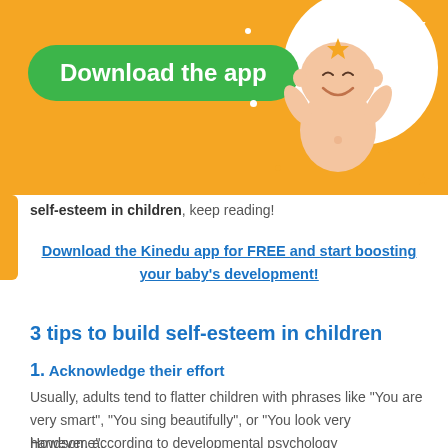[Figure (illustration): Orange banner with green Download the app button, cartoon baby illustration, and decorative stars/dots]
self-esteem in children, keep reading!
Download the Kinedu app for FREE and start boosting your baby's development!
3 tips to build self-esteem in children
1. Acknowledge their effort
Usually, adults tend to flatter children with phrases like "You are very smart", "You sing beautifully", or "You look very handsome".
However, according to developmental psychology